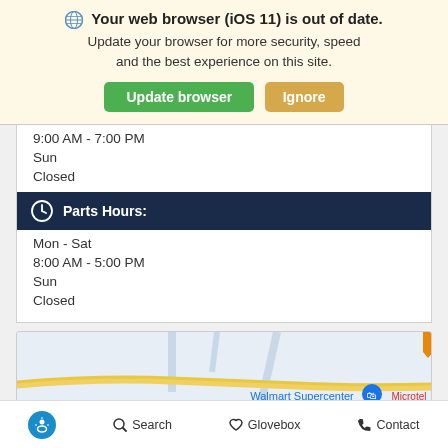🌐 Your web browser (iOS 11) is out of date. Update your browser for more security, speed and the best experience on this site.
Update browser | Ignore
9:00 AM - 7:00 PM
Sun
Closed
Parts Hours:
Mon - Sat
8:00 AM - 5:00 PM
Sun
Closed
[Figure (map): Street map showing Walmart Supercenter and Microtel by Wynd locations]
Accessibility | Search | Glovebox | Contact